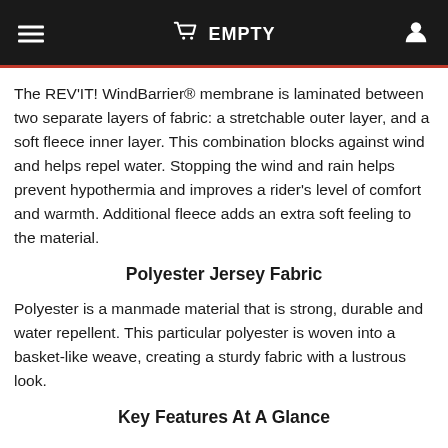EMPTY
The REV'IT! WindBarrier® membrane is laminated between two separate layers of fabric: a stretchable outer layer, and a soft fleece inner layer. This combination blocks against wind and helps repel water. Stopping the wind and rain helps prevent hypothermia and improves a rider's level of comfort and warmth. Additional fleece adds an extra soft feeling to the material.
Polyester Jersey Fabric
Polyester is a manmade material that is strong, durable and water repellent. This particular polyester is woven into a basket-like weave, creating a sturdy fabric with a lustrous look.
Key Features At A Glance